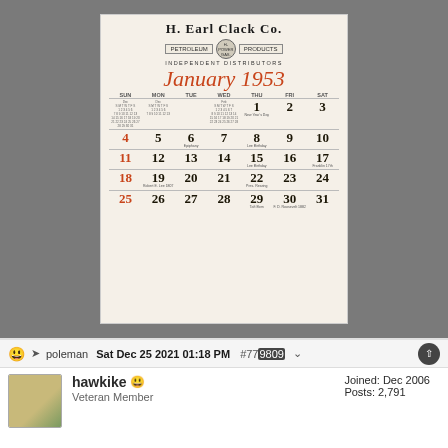[Figure (photo): Photo of a vintage H. Earl Clack Co. January 1953 wall calendar for petroleum products, showing full monthly grid with dates 1-31, placed on a gray surface.]
poleman  Sat Dec 25 2021 01:18 PM  #779809
hawkike  Veteran Member  Joined: Dec 2006  Posts: 2,791